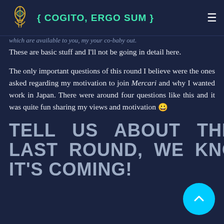{ COGITO, ERGO SUM }
which are available to you, my your co-baby out.
These are basic stuff and I'll not be going in detail here.
The only important questions of this round I believe were the ones asked regarding my motivation to join Mercari and why I wanted work in Japan. There were around four questions like this and it was quite fun sharing my views and motivation 😀
TELL US ABOUT THE LAST ROUND, WE KNOW IT'S COMING!